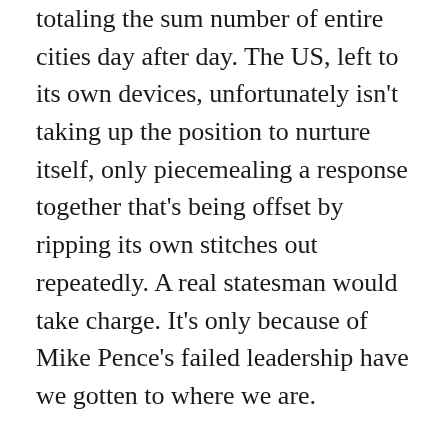totaling the sum number of entire cities day after day. The US, left to its own devices, unfortunately isn't taking up the position to nurture itself, only piecemealing a response together that's being offset by ripping its own stitches out repeatedly. A real statesman would take charge. It's only because of Mike Pence's failed leadership have we gotten to where we are.
Mike Pence won't ride out into the sunset after he leaves office, because he'll ride out in the dead of winter under a veil of darkness stacked with human bodies a mile high. He doesn't deserve another day in office, and his failure will leave a permanent crack in the lives of Americans who will suffer long after he's gone